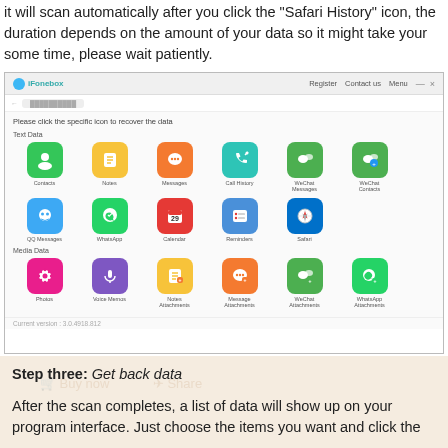it will scan automatically after you click the "Safari History" icon, the duration depends on the amount of your data so it might take your some time, please wait patiently.
[Figure (screenshot): iFonebox application screenshot showing a data recovery interface with app icons grouped into Text Data (Contacts, Notes, Messages, Call History, WeChat Messages, WeChat Contacts, QQ Messages, WhatsApp, Calendar, Reminders, Safari) and Media Data (Photos, Voice Memos, Notes Attachments, Message Attachments, WeChat Attachments, WhatsApp Attachments). Version 3.0.4918.812 shown at bottom.]
Step three: Get back data
After the scan completes, a list of data will show up on your program interface. Just choose the items you want and click the